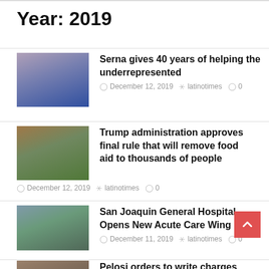Year: 2019
Serna gives 40 years of helping the underrepresented
December 12, 2019  latinotimes  0
Trump administration approves final rule that will remove food aid to thousands of people
December 12, 2019  latinotimes  0
San Joaquin General Hospital Opens New Acute Care Wing
December 11, 2019  latinotimes  0
Pelosi orders to write charges against